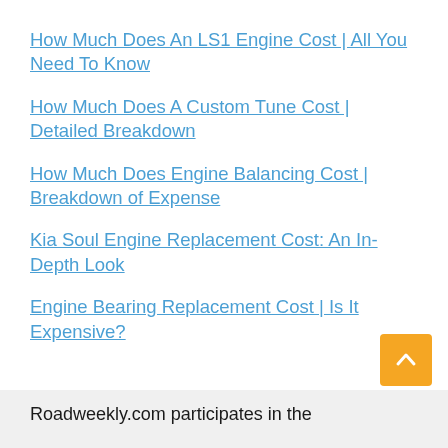How Much Does An LS1 Engine Cost | All You Need To Know
How Much Does A Custom Tune Cost | Detailed Breakdown
How Much Does Engine Balancing Cost | Breakdown of Expense
Kia Soul Engine Replacement Cost: An In-Depth Look
Engine Bearing Replacement Cost | Is It Expensive?
Roadweekly.com participates in the